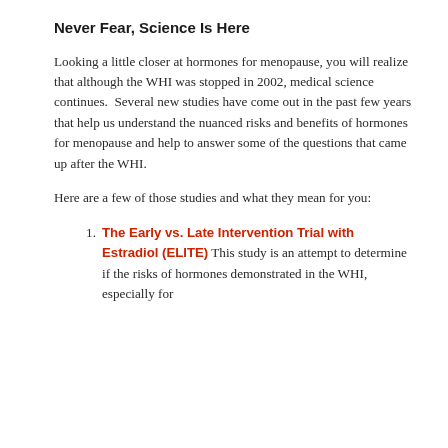Never Fear, Science Is Here
Looking a little closer at hormones for menopause, you will realize that although the WHI was stopped in 2002, medical science continues.  Several new studies have come out in the past few years that help us understand the nuanced risks and benefits of hormones for menopause and help to answer some of the questions that came up after the WHI.
Here are a few of those studies and what they mean for you:
The Early vs. Late Intervention Trial with Estradiol (ELITE) This study is an attempt to determine if the risks of hormones demonstrated in the WHI, especially for